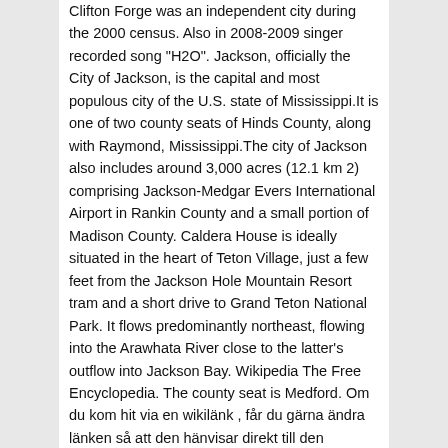Clifton Forge was an independent city during the 2000 census. Also in 2008-2009 singer recorded song "H2O". Jackson, officially the City of Jackson, is the capital and most populous city of the U.S. state of Mississippi.It is one of two county seats of Hinds County, along with Raymond, Mississippi.The city of Jackson also includes around 3,000 acres (12.1 km 2) comprising Jackson-Medgar Evers International Airport in Rankin County and a small portion of Madison County. Caldera House is ideally situated in the heart of Teton Village, just a few feet from the Jackson Hole Mountain Resort tram and a short drive to Grand Teton National Park. It flows predominantly northeast, flowing into the Arawhata River close to the latter's outflow into Jackson Bay. Wikipedia The Free Encyclopedia. The county seat is Medford. Om du kom hit via en wikilänk , får du gärna ändra länken så att den hänvisar direkt till den avsedda sidan. Oregon has approximately 110,994 miles of river, of which 1,916.7 miles are designated as wild & scenic—almost 2% of the state's river miles. Oliver Jackson-Cohen, Actor: Faster. Robert also received a patent of 1,000 acres "on Jackson's River" from William Jackson on 7 February